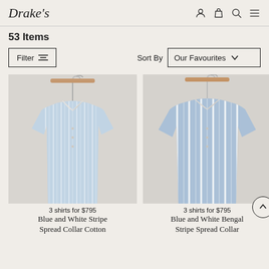Drake's
53 Items
Filter  Sort By  Our Favourites
[Figure (photo): Blue and white stripe dress shirt on a wooden hanger, spread collar, cotton fabric, light blue vertical stripes on white background]
3 shirts for $795
Blue and White Stripe Spread Collar Cotton
[Figure (photo): Blue and white Bengal stripe dress shirt on a wooden hanger, spread collar, cotton fabric, bold blue vertical stripes on white background]
3 shirts for $795
Blue and White Bengal Stripe Spread Collar